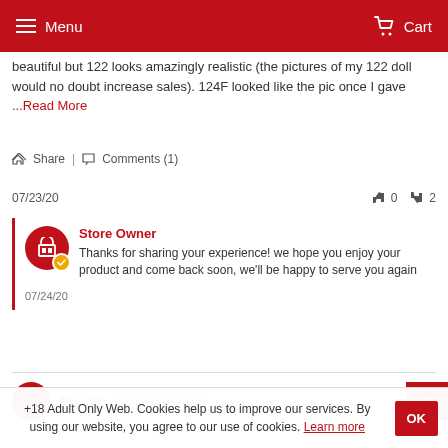Menu | Cart
beautiful but 122 looks amazingly realistic (the pictures of my 122 doll would no doubt increase sales). 124F looked like the pic once I gave ...Read More
Share | Comments (1)
07/23/20   👍 0  👎 2
Store Owner
Thanks for sharing your experience! we hope you enjoy your product and come back soon, we'll be happy to serve you again
07/24/20
Ron W.  Verified Reviewer
+18 Adult Only Web. Cookies help us to improve our services. By using our website, you agree to our use of cookies. Learn more